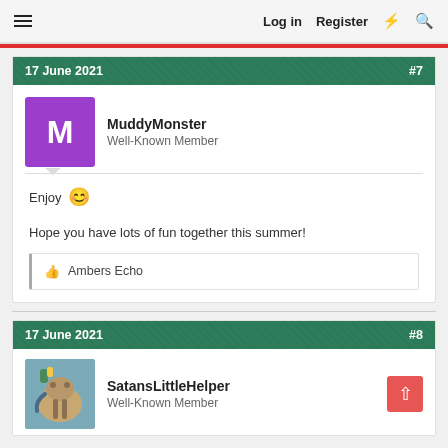Log in  Register
17 June 2021  #7
MuddyMonster
Well-Known Member
Enjoy 😊
Hope you have lots of fun together this summer!
👍 Ambers Echo
17 June 2021  #8
SatansLittleHelper
Well-Known Member